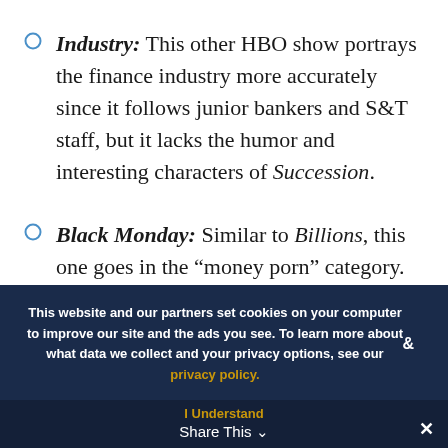Industry: This other HBO show portrays the finance industry more accurately since it follows junior bankers and S&T staff, but it lacks the humor and interesting characters of Succession.
Black Monday: Similar to Billions, this one goes in the "money porn" category. It's a fun
This website and our partners set cookies on your computer to improve our site and the ads you see. To learn more about what data we collect and your privacy options, see our privacy policy.
I Understand  Share This  ✕